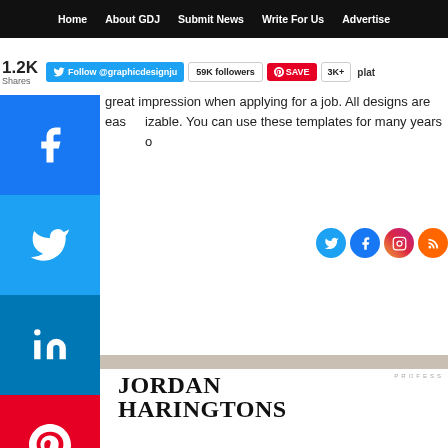Home  About GDJ  Submit News  Write For Us  Advertise
[Figure (screenshot): Social media follow bar with Twitter follow @graphicdesignju button, 59K followers badge, Pinterest SAVE button, 3K+ count]
great impression when applying for a job. All designs are easy to customize. You can use these templates for many years o
[Figure (screenshot): Social share sidebar with Facebook, Twitter, LinkedIn, Pinterest buttons and share count 1.2K Shares]
[Figure (screenshot): Resume preview showing Jordan Haringtons name, contact info, summary section, education and experience headings]
JORDAN HARINGTONS
+1 0123-456-789
youremail@domain.com
1234 Street Name, City
linkedin.com/in/namesurname
SUMMARY
This is the section where you describe your professional ca employer know why they would want to hire you. Use this career highlights, collaborations or stepping stones to whe professional. Lorem ipsum dolor sit amet, consectetur adip eiusmod tempor consectetur adipiscing eituram.
EDUCATION  EXPERIENCE